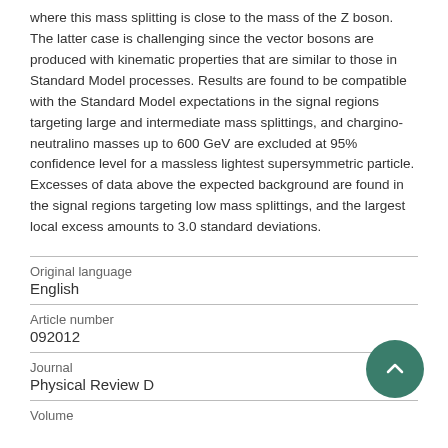where this mass splitting is close to the mass of the Z boson. The latter case is challenging since the vector bosons are produced with kinematic properties that are similar to those in Standard Model processes. Results are found to be compatible with the Standard Model expectations in the signal regions targeting large and intermediate mass splittings, and chargino-neutralino masses up to 600 GeV are excluded at 95% confidence level for a massless lightest supersymmetric particle. Excesses of data above the expected background are found in the signal regions targeting low mass splittings, and the largest local excess amounts to 3.0 standard deviations.
Original language
English
Article number
092012
Journal
Physical Review D
Volume